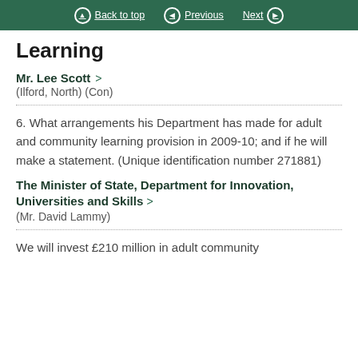Back to top  Previous  Next
Learning
Mr. Lee Scott
(Ilford, North) (Con)
6. What arrangements his Department has made for adult and community learning provision in 2009-10; and if he will make a statement. (Unique identification number 271881)
The Minister of State, Department for Innovation, Universities and Skills
(Mr. David Lammy)
We will invest £210 million in adult community